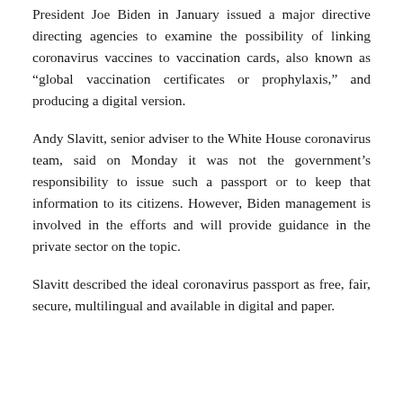President Joe Biden in January issued a major directive directing agencies to examine the possibility of linking coronavirus vaccines to vaccination cards, also known as “global vaccination certificates or prophylaxis,” and producing a digital version.
Andy Slavitt, senior adviser to the White House coronavirus team, said on Monday it was not the government’s responsibility to issue such a passport or to keep that information to its citizens. However, Biden management is involved in the efforts and will provide guidance in the private sector on the topic.
Slavitt described the ideal coronavirus passport as free, fair, secure, multilingual and available in digital and paper.